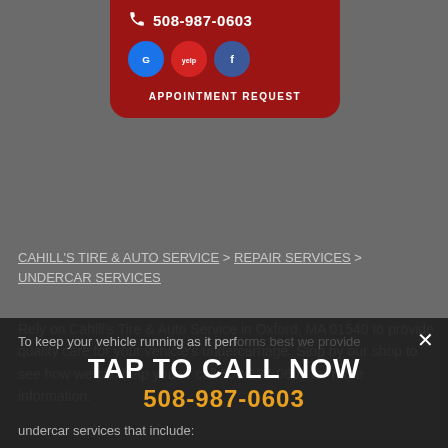[Figure (screenshot): Red card popup showing phone number 508-987-0603, social media icons for Google, Yelp, and Facebook, and an APPOINTMENT REQUEST button]
CAHILL'S TIRE & AUTO SERVICE > REPAIR SERVICES > UNDERCAR SERVICES
Rely on Cahill's Tire & Auto Service in Oxford, MA 01540 to provide quality care for your vehicle's undercarriage. Stop by our shop to see how we can help you or call 508-987-0603 for more information.
TAP TO CALL NOW
508-987-0603
To keep your vehicle running as it performs best we provide undercar services that include:
Alignment